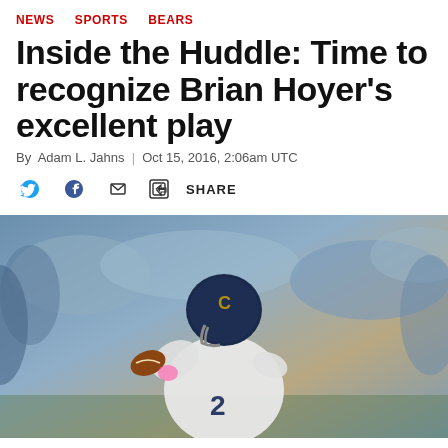NEWS  SPORTS  BEARS
Inside the Huddle: Time to recognize Brian Hoyer’s excellent play
By Adam L. Jahns  |  Oct 15, 2016, 2:06am UTC
[Figure (infographic): Social sharing icons: Twitter bird, Facebook f, envelope/email, and share icon with text SHARE]
[Figure (photo): Chicago Bears quarterback Brian Hoyer (#2) in white jersey winding up to throw a pass, wearing navy blue helmet with Bears C logo, pink glove details, stadium crowd blurred in background]